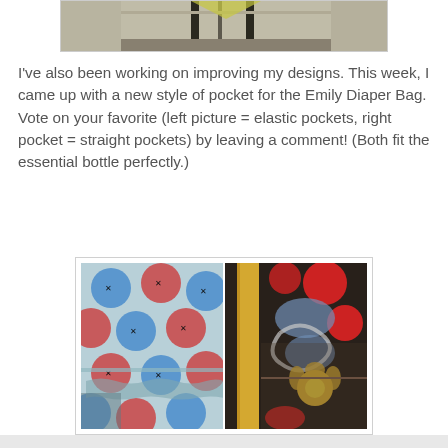[Figure (photo): Partial top photo showing a dark table or furniture piece against a light background]
I've also been working on improving my designs.  This week, I came up with a new style of pocket for the Emily Diaper Bag.  Vote on your favorite (left picture = elastic pockets, right pocket = straight pockets) by leaving a comment!  (Both fit the essential bottle perfectly.)
[Figure (photo): Two side-by-side photos of diaper bag pockets: left shows a light blue fabric with red and blue circular pattern (elastic pockets), right shows dark fabric with bold red, blue, yellow floral pattern (straight pockets)]